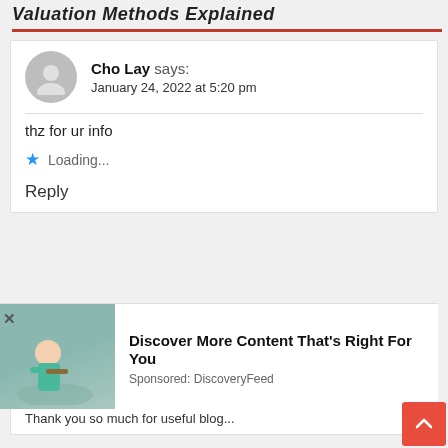Valuation Methods Explained
Cho Lay says:
January 24, 2022 at 5:20 pm
thz for ur info
★ Loading...
Reply
[Figure (illustration): Advertisement overlay: person with telescope on teal background]
Discover More Content That's Right For You
Sponsored: DiscoveryFeed
January 30, 2022 at 10:54 pm
Thank you so much for useful blog...